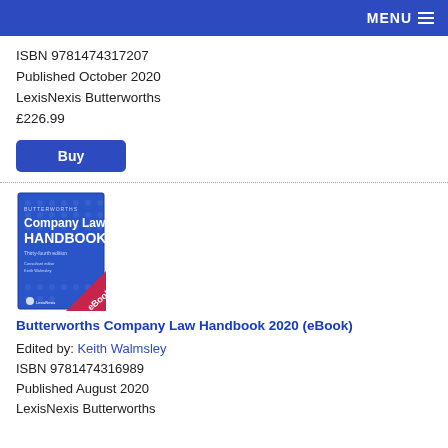MENU
ISBN 9781474317207
Published October 2020
LexisNexis Butterworths
£226.99
[Figure (illustration): Blue 'Buy' button]
[Figure (illustration): Book cover: Butterworths Company Law Handbook, Thirty-fourth edition, eBook, LexisNexis]
Butterworths Company Law Handbook 2020 (eBook)
Edited by: Keith Walmsley
ISBN 9781474316989
Published August 2020
LexisNexis Butterworths